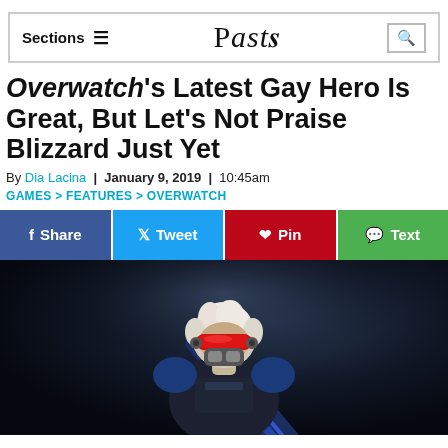Sections  ≡   Paste   🔍
Overwatch's Latest Gay Hero Is Great, But Let's Not Praise Blizzard Just Yet
By Dia Lacina  |  January 9, 2019  |  10:45am
GAMES > FEATURES > OVERWATCH
[Figure (other): Social sharing buttons: Share (Facebook, blue), Tweet (Twitter, light blue), Pin (Pinterest, red), Text (green)]
[Figure (photo): Screenshot from Overwatch game showing a character (Soldier 76) with white/silver hair, red visor, and blue armored suit with a weapon, against a dark background]